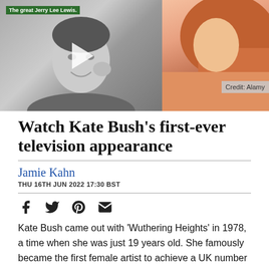[Figure (photo): Left: Black and white photo of a man (Jerry Lee Lewis) with a video play button overlay and green label 'The great Jerry Lee Lewis.' Right: Color photo of a woman with red/brown hair, partially visible. Credit: Alamy shown in grey box.]
Watch Kate Bush's first-ever television appearance
Jamie Kahn
THU 16TH JUN 2022 17:30 BST
[Figure (infographic): Social share icons: Facebook, Twitter, Pinterest, Email]
Kate Bush came out with ‘Wuthering Heights’ in 1978, a time when she was just 19 years old. She famously became the first female artist to achieve a UK number one with a self-written song, remaining at the top of